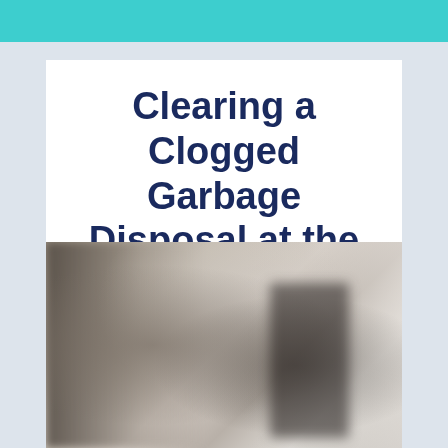Clearing a Clogged Garbage Disposal at the Source
[Figure (photo): A blurred photograph showing what appears to be under-sink plumbing or a garbage disposal unit, with dark and light tones suggesting a kitchen cabinet or mechanical assembly.]